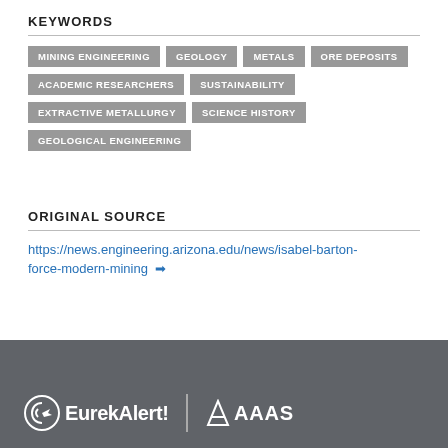KEYWORDS
MINING ENGINEERING
GEOLOGY
METALS
ORE DEPOSITS
ACADEMIC RESEARCHERS
SUSTAINABILITY
EXTRACTIVE METALLURGY
SCIENCE HISTORY
GEOLOGICAL ENGINEERING
ORIGINAL SOURCE
https://news.engineering.arizona.edu/news/isabel-barton-force-modern-mining
EurekAlert! AAAS